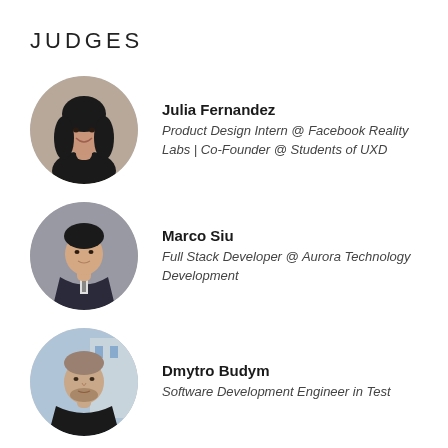JUDGES
[Figure (photo): Circular headshot of Julia Fernandez, a young woman with long dark hair, smiling, wearing a black top.]
Julia Fernandez
Product Design Intern @ Facebook Reality Labs | Co-Founder @ Students of UXD
[Figure (photo): Circular headshot of Marco Siu, a young man in a dark suit, looking at the camera.]
Marco Siu
Full Stack Developer @ Aurora Technology Development
[Figure (photo): Circular headshot of Dmytro Budym, a man with short light brown hair and beard, outdoors in front of a building.]
Dmytro Budym
Software Development Engineer in Test